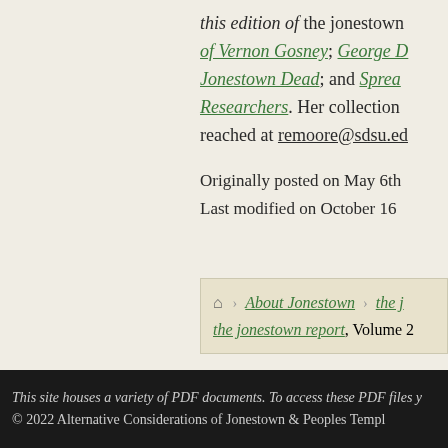this edition of the jonestown ... of Vernon Gosney; George D... Jonestown Dead; and Spread... Researchers. Her collection ... reached at remoore@sdsu.ed...
Originally posted on May 6th... Last modified on October 16...
About Jonestown > the jonestown report, Volume 2...
This site houses a variety of PDF documents. To access these PDF files y... © 2022 Alternative Considerations of Jonestown & Peoples Templ...